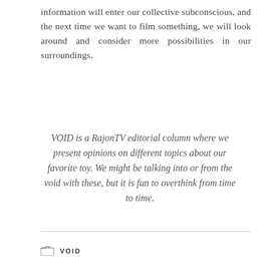information will enter our collective subconscious, and the next time we want to film something, we will look around and consider more possibilities in our surroundings.
VOID is a RajonTV editorial column where we present opinions on different topics about our favorite toy. We might be talking into or from the void with these, but it is fun to overthink from time to time.
VOID